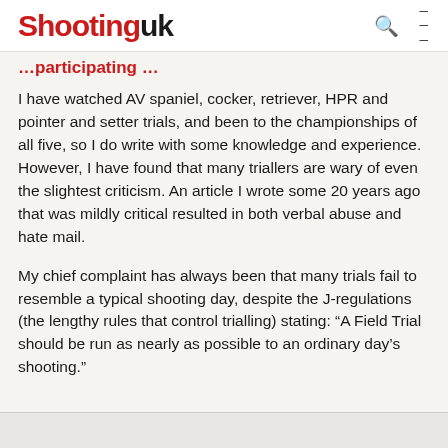Shooting uk
I have watched AV spaniel, cocker, retriever, HPR and pointer and setter trials, and been to the championships of all five, so I do write with some knowledge and experience. However, I have found that many triallers are wary of even the slightest criticism. An article I wrote some 20 years ago that was mildly critical resulted in both verbal abuse and hate mail.
My chief complaint has always been that many trials fail to resemble a typical shooting day, despite the J-regulations (the lengthy rules that control trialling) stating: “A Field Trial should be run as nearly as possible to an ordinary day’s shooting.”